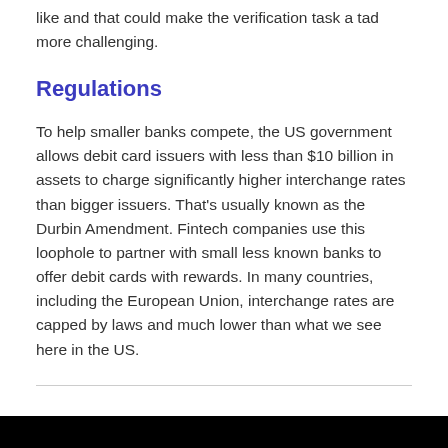like and that could make the verification task a tad more challenging.
Regulations
To help smaller banks compete, the US government allows debit card issuers with less than $10 billion in assets to charge significantly higher interchange rates than bigger issuers. That's usually known as the Durbin Amendment. Fintech companies use this loophole to partner with small less known banks to offer debit cards with rewards. In many countries, including the European Union, interchange rates are capped by laws and much lower than what we see here in the US.